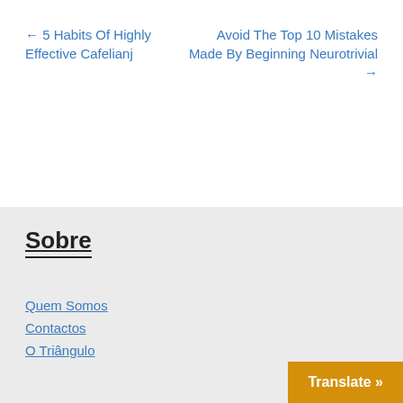← 5 Habits Of Highly Effective Cafelianj
Avoid The Top 10 Mistakes Made By Beginning Neurotrivial →
Sobre
Quem Somos
Contactos
O Triângulo
Translate »